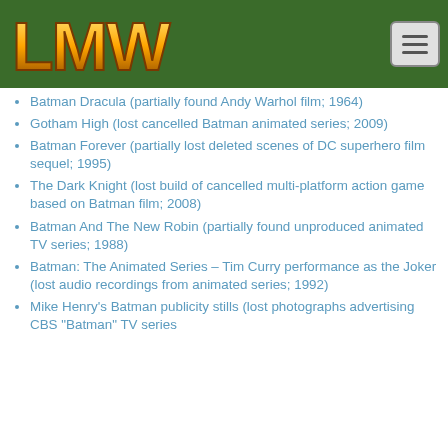[Figure (logo): LMW logo in gold/orange stylized text on green background header]
Batman Dracula (partially found Andy Warhol film; 1964)
Gotham High (lost cancelled Batman animated series; 2009)
Batman Forever (partially lost deleted scenes of DC superhero film sequel; 1995)
The Dark Knight (lost build of cancelled multi-platform action game based on Batman film; 2008)
Batman And The New Robin (partially found unproduced animated TV series; 1988)
Batman: The Animated Series – Tim Curry performance as the Joker (lost audio recordings from animated series; 1992)
Mike Henry's Batman publicity stills (lost photographs advertising CBS 'Batman' TV series)